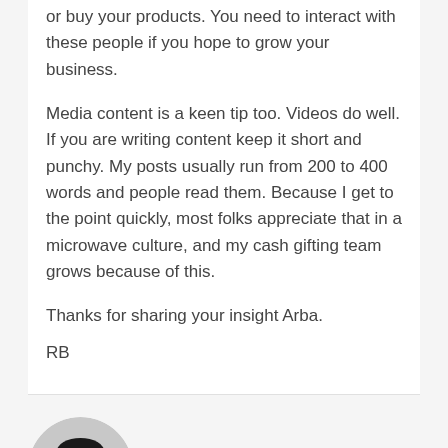or buy your products. You need to interact with these people if you hope to grow your business.
Media content is a keen tip too. Videos do well. If you are writing content keep it short and punchy. My posts usually run from 200 to 400 words and people read them. Because I get to the point quickly, most folks appreciate that in a microwave culture, and my cash gifting team grows because of this.
Thanks for sharing your insight Arba.
RB
[Figure (photo): Circular avatar photo of a man wearing glasses, black and white photo]